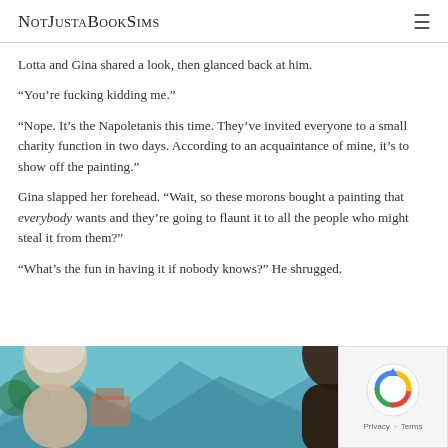NotJustaBookSims
Lotta and Gina shared a look, then glanced back at him.
“You’re fucking kidding me.”
“Nope. It’s the Napoletanis this time. They’ve invited everyone to a small charity function in two days. According to an acquaintance of mine, it’s to show off the painting.”
Gina slapped her forehead. “Wait, so these morons bought a painting that everybody wants and they’re going to flaunt it to all the people who might steal it from them?”
“What’s the fun in having it if nobody knows?” He shrugged.
[Figure (screenshot): Screenshot from The Sims game showing characters outdoors with blue/teal mountain background. A character with light hair is visible on the left, a dark-clothed character on the right.]